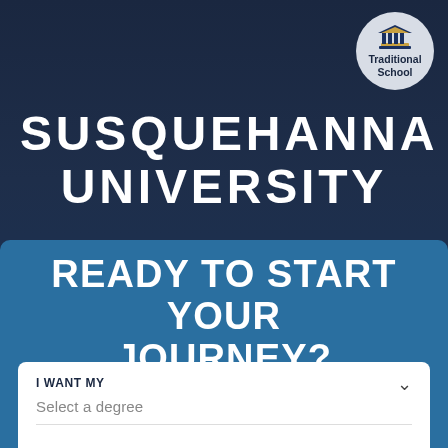[Figure (logo): Traditional School badge - circular gray badge with a university/columns icon in navy and gold, labeled 'Traditional School']
SUSQUEHANNA UNIVERSITY
READY TO START YOUR JOURNEY?
I WANT MY
Select a degree